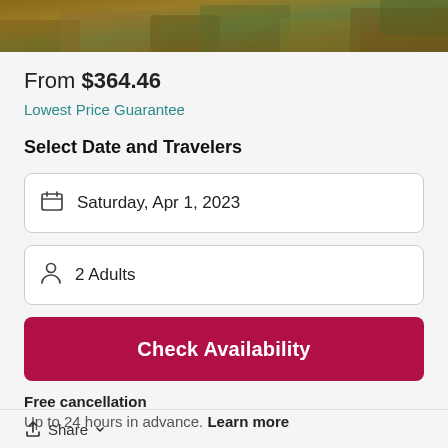[Figure (photo): Aerial or scenic outdoor rocky landscape photo banner at top of page]
From $364.46
Lowest Price Guarantee
Select Date and Travelers
Saturday, Apr 1, 2023
2 Adults
Check Availability
Free cancellation
Up to 24 hours in advance. Learn more
Share